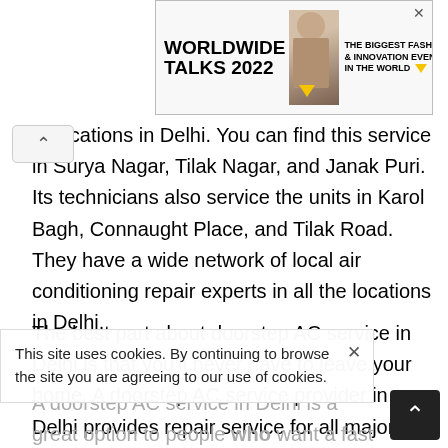[Figure (other): Advertisement banner: WORLDWIDE TALKS 2022 - THE BIGGEST FASHION & INNOVATION EVENT IN THE WORLD, with a fashion model image]
at locations in Delhi. You can find this service in Surya Nagar, Tilak Nagar, and Janak Puri. Its technicians also service the units in Karol Bagh, Connaught Place, and Tilak Road. They have a wide network of local air conditioning repair experts in all the locations in Delhi.
The best part about doorstep AC service in Delhi is that you'll never have to leave your home. A doorstep AC service provider in Delhi provides repair service for all major brands and is the most affordable way to get quality AC services. You'll never have to worry about the safety of your family and your property, as the team will come to your home and install your air conditioner. They do a great job, too!
A doorstep AC service in Delhi is a great option to people who want a fast and affordable air conditioning repair service. These services are available in areas like Surya Nagar, Ram
This site uses cookies. By continuing to browse the site you are agreeing to our use of cookies.